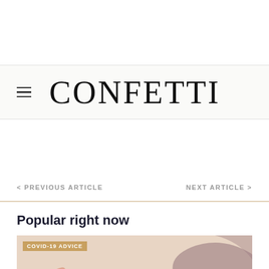CONFETTI
< PREVIOUS ARTICLE
NEXT ARTICLE >
Popular right now
[Figure (illustration): Article thumbnail image with abstract shapes in pink/blush and mauve tones, with a COVID-19 ADVICE badge overlay]